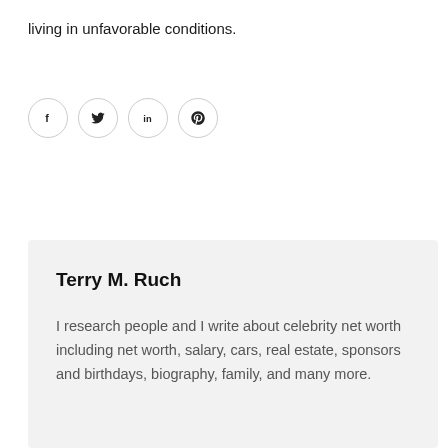living in unfavorable conditions.
[Figure (infographic): Four social media share icon buttons in circles: Facebook (f), Twitter (bird), LinkedIn (in), Pinterest (P)]
Terry M. Ruch
I research people and I write about celebrity net worth including net worth, salary, cars, real estate, sponsors and birthdays, biography, family, and many more.